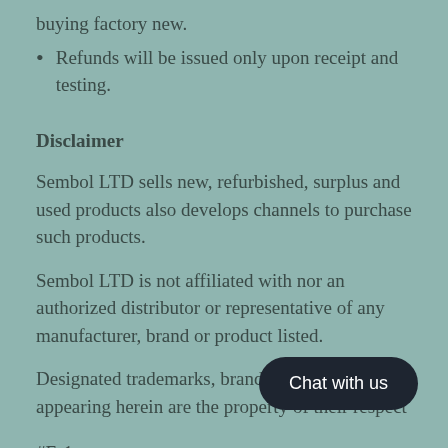buying factory new.
Refunds will be issued only upon receipt and testing.
Disclaimer
Sembol LTD sells new, refurbished, surplus and used products also develops channels to purchase such products.
Sembol LTD is not affiliated with nor an authorized distributor or representative of any manufacturer, brand or product listed.
Designated trademarks, brand names and brands appearing herein are the property of their respect
#E-1